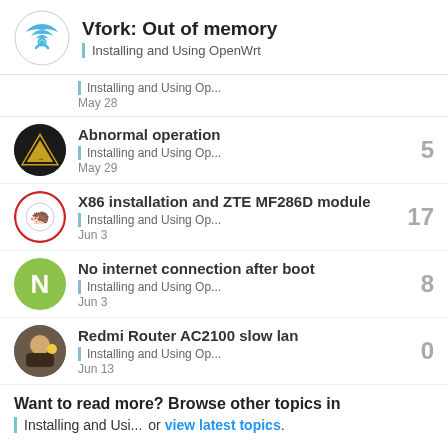Vfork: Out of memory — Installing and Using OpenWrt
Installing and Using Op... | May 28
Abnormal operation | 5 | Installing and Using Op... | May 29
X86 installation and ZTE MF286D module | 17 | Installing and Using Op... | Jun 3
No internet connection after boot | 8 | Installing and Using Op... | Jun 3
Redmi Router AC2100 slow lan | 0 | Installing and Using Op... | Jun 13
Want to read more? Browse other topics in Installing and Usi... or view latest topics.